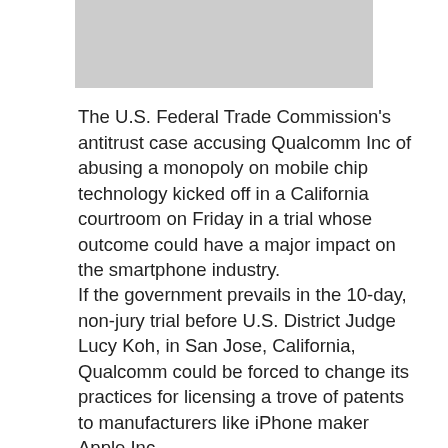[Figure (photo): Gray placeholder image at top of page]
The U.S. Federal Trade Commission's antitrust case accusing Qualcomm Inc of abusing a monopoly on mobile chip technology kicked off in a California courtroom on Friday in a trial whose outcome could have a major impact on the smartphone industry.
If the government prevails in the 10-day, non-jury trial before U.S. District Judge Lucy Koh, in San Jose, California, Qualcomm could be forced to change its practices for licensing a trove of patents to manufacturers like iPhone maker Apple Inc.